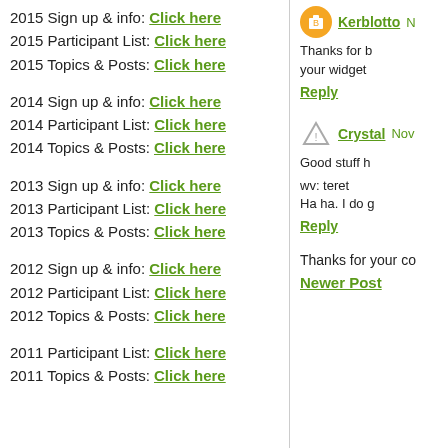2015 Sign up & info: Click here
2015 Participant List: Click here
2015 Topics & Posts: Click here
2014 Sign up & info: Click here
2014 Participant List: Click here
2014 Topics & Posts: Click here
2013 Sign up & info: Click here
2013 Participant List: Click here
2013 Topics & Posts: Click here
2012 Sign up & info: Click here
2012 Participant List: Click here
2012 Topics & Posts: Click here
2011 Participant List: Click here
2011 Topics & Posts: Click here
Kerblotto N
Thanks for b your widget
Reply
Crystal Nov
Good stuff h
wv: teret
Ha ha. I do g
Reply
Thanks for your co
Newer Post